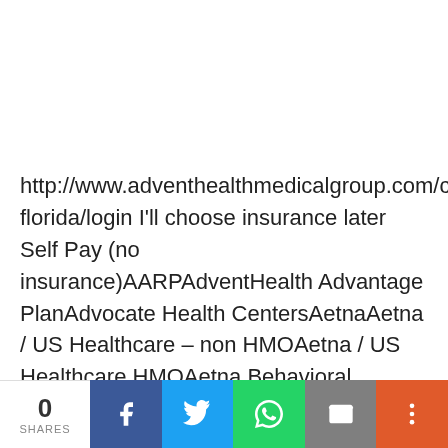http://www.adventhealthmedicalgroup.com/central-florida/login I'll choose insurance later Self Pay (no insurance)AARPAdventHealth Advantage PlanAdvocate Health CentersAetnaAetna / US Healthcare – non HMOAetna / US Healthcare HMOAetna Behavioral HealthAetna Better Health – FL MedicaidAetna Better Health-KY MedicaidAetna Senior Supplemental InsuranceAetna Student
0 SHARES [Facebook] [Twitter] [WhatsApp] [Email] [More]